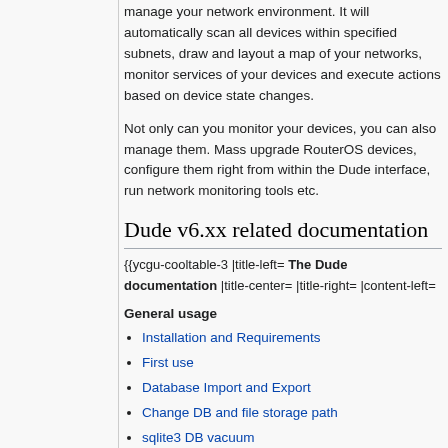manage your network environment. It will automatically scan all devices within specified subnets, draw and layout a map of your networks, monitor services of your devices and execute actions based on device state changes.
Not only can you monitor your devices, you can also manage them. Mass upgrade RouterOS devices, configure them right from within the Dude interface, run network monitoring tools etc.
Dude v6.xx related documentation
{{ycgu-cooltable-3 |title-left= The Dude documentation |title-center= |title-right= |content-left=
General usage
Installation and Requirements
First use
Database Import and Export
Change DB and file storage path
sqlite3 DB vacuum